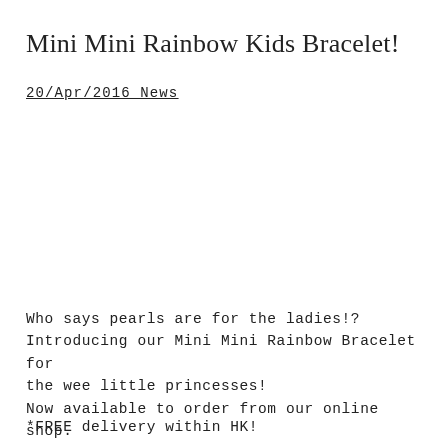Mini Mini Rainbow Kids Bracelet!
20/Apr/2016 News
Who says pearls are for the ladies!? Introducing our Mini Mini Rainbow Bracelet for the wee little princesses! Now available to order from our online shop.
*FREE delivery within HK!